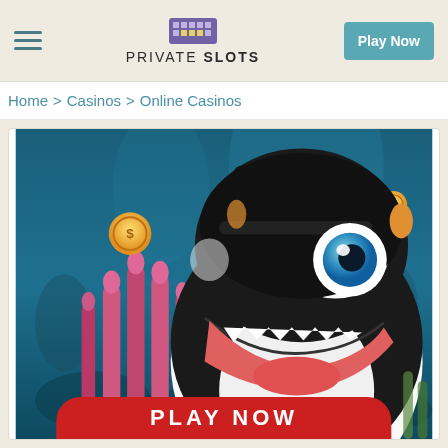PRIVATE SLOTS — Play Now
Home > Casinos > Online Casinos
[Figure (screenshot): Animated cartoon orca/killer whale character smiling with open mouth, floating gold coins, pink sea anemones, and underwater ocean background with a red PLAY NOW button at the bottom — casino game promotional banner for Private Slots]